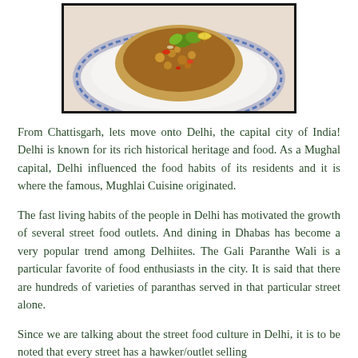[Figure (photo): Photo of an Indian food dish — a bowl with chickpea curry garnished with green herbs, red peppers, and a lemon wedge, served on a decorative blue and white plate.]
From Chattisgarh, lets move onto Delhi, the capital city of India! Delhi is known for its rich historical heritage and food. As a Mughal capital, Delhi influenced the food habits of its residents and it is where the famous, Mughlai Cuisine originated.
The fast living habits of the people in Delhi has motivated the growth of several street food outlets. And dining in Dhabas has become a very popular trend among Delhiites. The Gali Paranthe Wali is a particular favorite of food enthusiasts in the city. It is said that there are hundreds of varieties of paranthas served in that particular street alone.
Since we are talking about the street food culture in Delhi, it is to be noted that every street has a hawker/outlet selling